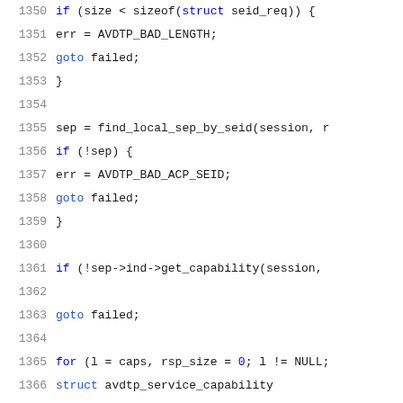[Figure (screenshot): Source code listing showing C code snippet, lines 1350–1371, with syntax highlighting. Line numbers in grey on the left, keywords in blue, general code in dark/black.]